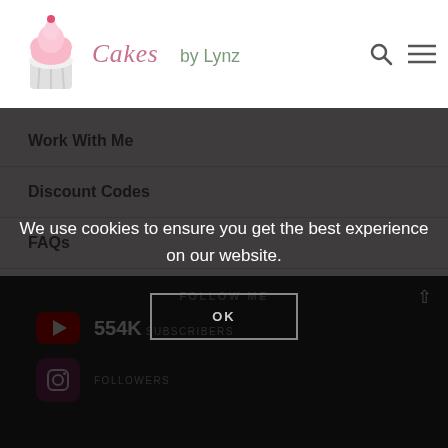[Figure (logo): Cakes by Lynz logo with cupcake icon and cursive/script text]
Work With Me
Discount Codes
FAQs
Contact
Privacy Policy
FOLLOW ME
554K SUBSCRIBERS
FOLLOWERS
We use cookies to ensure you get the best experience on our website.
OK